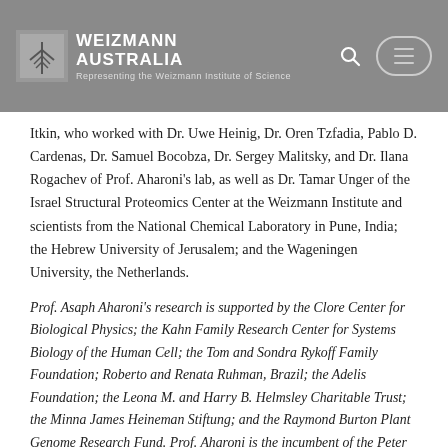WEIZMANN AUSTRALIA — Representing the Weizmann Institute of Science
Itkin, who worked with Dr. Uwe Heinig, Dr. Oren Tzfadia, Pablo D. Cardenas, Dr. Samuel Bocobza, Dr. Sergey Malitsky, and Dr. Ilana Rogachev of Prof. Aharoni's lab, as well as Dr. Tamar Unger of the Israel Structural Proteomics Center at the Weizmann Institute and scientists from the National Chemical Laboratory in Pune, India; the Hebrew University of Jerusalem; and the Wageningen University, the Netherlands.
Prof. Asaph Aharoni's research is supported by the Clore Center for Biological Physics; the Kahn Family Research Center for Systems Biology of the Human Cell; the Tom and Sondra Rykoff Family Foundation; Roberto and Renata Ruhman, Brazil; the Adelis Foundation; the Leona M. and Harry B. Helmsley Charitable Trust; the Minna James Heineman Stiftung; and the Raymond Burton Plant Genome Research Fund. Prof. Aharoni is the incumbent of the Peter J. Cohn Professorial Chair.
GENE DECODING OBEYS ROAD